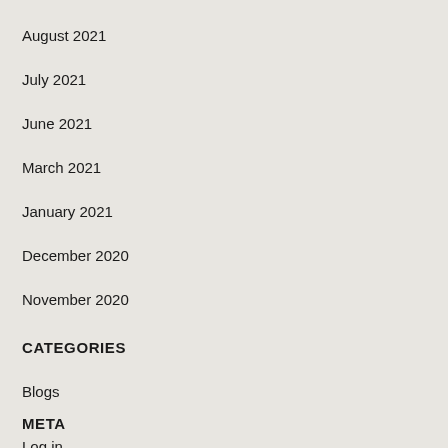August 2021
July 2021
June 2021
March 2021
January 2021
December 2020
November 2020
CATEGORIES
Blogs
META
Log in